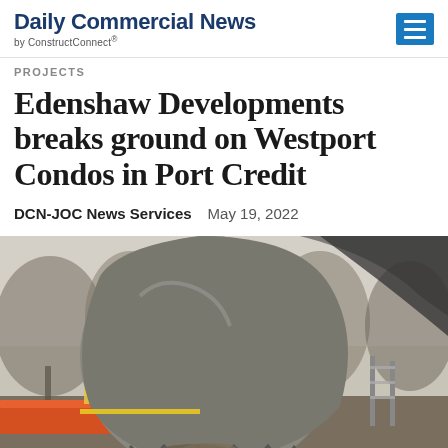Daily Commercial News by ConstructConnect
PROJECTS
Edenshaw Developments breaks ground on Westport Condos in Port Credit
DCN-JOC News Services   May 19, 2022
[Figure (photo): Close-up photograph of a large excavator bucket scooping dirt at a construction site. In the background, a worker in a yellow vest, orange construction barriers, bare trees, and fencing are visible.]